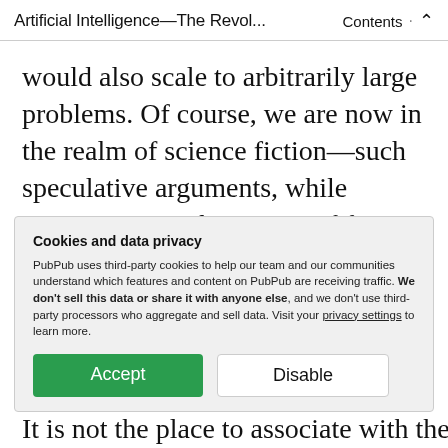Artificial Intelligence—The Revol... · Contents ⌃
would also scale to arbitrarily large problems. Of course, we are now in the realm of science fiction—such speculative arguments, while entertaining in the setting of fiction, should not be our principal strategy going forward in the face of the critical IA and II problems that
Cookies and data privacy
PubPub uses third-party cookies to help our team and our communities understand which features and content on PubPub are receiving traffic. We don't sell this data or share it with anyone else, and we don't use third-party processors who aggregate and sell data. Visit your privacy settings to learn more.
It is not the place to associate with the steam d